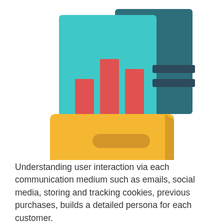[Figure (illustration): Flat design illustration of a golden/yellow box or folder container holding documents. The documents include a teal/cyan sheet with a red bar chart and dark navy text lines, plus a dark teal sheet behind it. The box is golden yellow with a rounded handle cutout in the front, and three small square dots at the bottom right of the box front.]
Understanding user interaction via each communication medium such as emails, social media, storing and tracking cookies, previous purchases, builds a detailed persona for each customer.